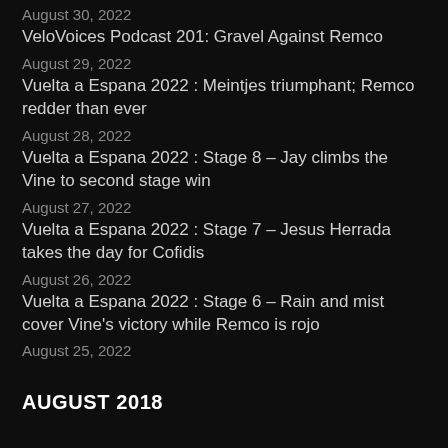August 30, 2022
VeloVoices Podcast 201: Gravel Against Remco
August 29, 2022
Vuelta a Espana 2022 : Meintjes triumphant; Remco redder than ever
August 28, 2022
Vuelta a Espana 2022 : Stage 8 – Jay climbs the Vine to second stage win
August 27, 2022
Vuelta a Espana 2022 : Stage 7 – Jesus Herrada takes the day for Cofidis
August 26, 2022
Vuelta a Espana 2022 : Stage 6 – Rain and mist cover Vine's victory while Remco is rojo
August 25, 2022
AUGUST 2018